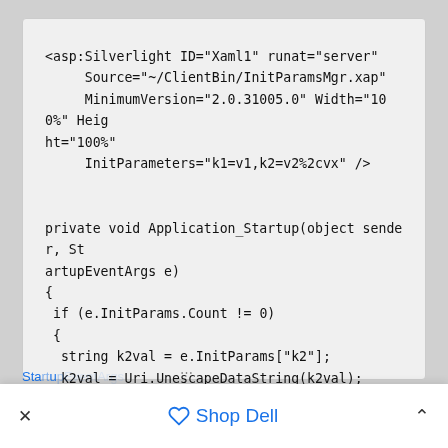<asp:Silverlight ID="Xaml1" runat="server"
     Source="~/ClientBin/InitParamsMgr.xap"
     MinimumVersion="2.0.31005.0" Width="100%" Height="100%"
     InitParameters="k1=v1,k2=v2%2cvx" />


private void Application_Startup(object sender, StartupEventArgs e)
{
 if (e.InitParams.Count != 0)
 {
  string k2val = e.InitParams["k2"];
  k2val = Uri.UnescapeDataString(k2val);
 }
 this.RootVisual = new Page();
}
Shop Dell